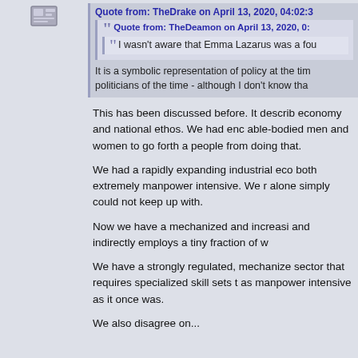[Figure (illustration): User avatar/icon in left panel]
Quote from: TheDrake on April 13, 2020, 04:02:3
Quote from: TheDeamon on April 13, 2020, 0:
I wasn't aware that Emma Lazarus was a fou
It is a symbolic representation of policy at the tim politicians of the time - although I don't know tha
This has been discussed before. It describ economy and national ethos. We had enc able-bodied men and women to go forth a people from doing that.
We had a rapidly expanding industrial eco both extremely manpower intensive. We r alone simply could not keep up with.
Now we have a mechanized and increasi and indirectly employs a tiny fraction of w
We have a strongly regulated, mechanize sector that requires specialized skill sets t as manpower intensive as it once was.
We also disagree on...